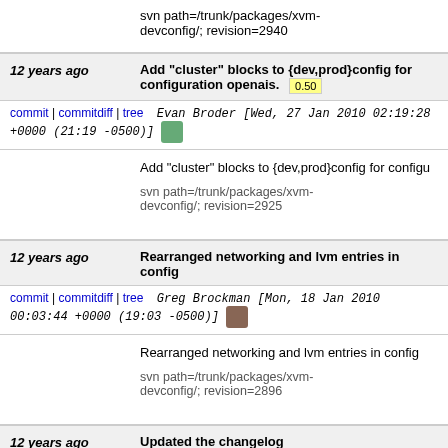svn path=/trunk/packages/xvm-devconfig/; revision=2940
12 years ago   Add "cluster" blocks to {dev,prod}config for configuration openais. 0.50
commit | commitdiff | tree   Evan Broder [Wed, 27 Jan 2010 02:19:28 +0000 (21:19 -0500)]
Add "cluster" blocks to {dev,prod}config for configu...

svn path=/trunk/packages/xvm-devconfig/; revision=2925
12 years ago   Rearranged networking and lvm entries in config
commit | commitdiff | tree   Greg Brockman [Mon, 18 Jan 2010 00:03:44 +0000 (19:03 -0500)]
Rearranged networking and lvm entries in config

svn path=/trunk/packages/xvm-devconfig/; revision=2896
12 years ago   Updated the changelog
commit | commitdiff | tree   Greg Brockman [Sat, 16 Jan 2010...